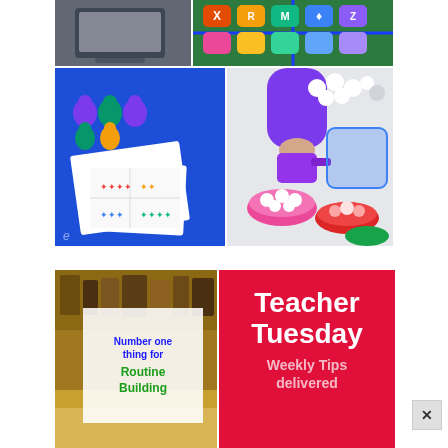[Figure (photo): Collage of classroom activity photos: top-left shows a laptop/device, top-right shows colorful letter bean bags on a green mat, mid-left shows counting bear manipulatives and math worksheets on a blue table, mid-right shows a child in purple sorting colored pom-poms into bowls with a measuring cup.]
[Figure (photo): Bottom-left: classroom interior photo with a white card overlay reading 'Number one thing for Routine Building' in blue and green text. Bottom-right: red background with white bold text reading 'Teacher Tuesday' and lighter text 'Weekly Tips delivered'.]